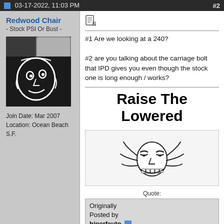03-17-2022, 11:03 PM  #2
Redwood Chair
- Stock PSI Or Bust -
[Figure (photo): Avatar image showing a car window sticker of a cartoon face (white outline drawing on dark background)]
Join Date: Mar 2007
Location: Ocean Beach S.F.
[Figure (illustration): Forum post icon (document/edit icon)]
#1 Are we looking at a 240?

#2 are you talking about the carriage bolt that IPD gives you even though the stock one is long enough / works?
Raise The Lowered
[Figure (illustration): Troll face meme image - classic internet meme of a smiling troll face with wide grin and squinting eyes]
Quote:
Originally Posted by hiperfauto